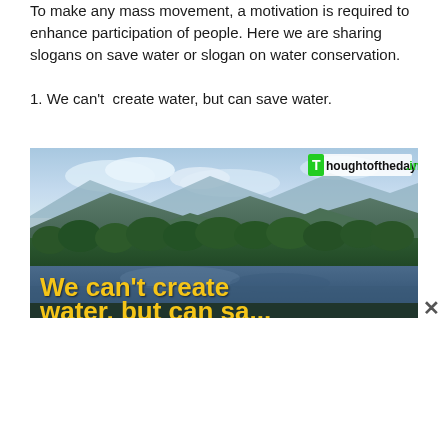To make any mass movement, a motivation is required to enhance participation of people. Here we are sharing slogans on save water or slogan on water conservation.
1. We can't create water, but can save water.
[Figure (photo): A scenic landscape photo showing mountains, forest, and a river/lake in the foreground with text overlay 'We can't create water, but can save...' in yellow. A 'Thoughtoftheday.in' watermark appears in the top right corner with a green T logo.]